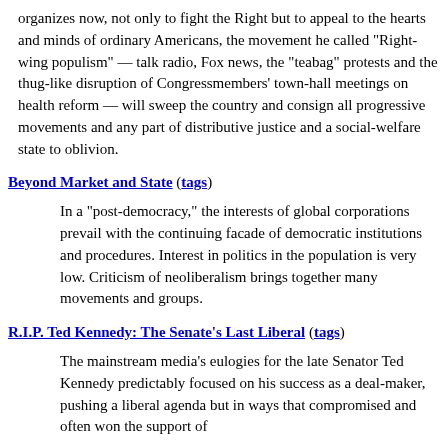organizes now, not only to fight the Right but to appeal to the hearts and minds of ordinary Americans, the movement he called "Right-wing populism" — talk radio, Fox news, the "teabag" protests and the thug-like disruption of Congressmembers' town-hall meetings on health reform — will sweep the country and consign all progressive movements and any part of distributive justice and a social-welfare state to oblivion.
Beyond Market and State (tags)
In a "post-democracy," the interests of global corporations prevail with the continuing facade of democratic institutions and procedures. Interest in politics in the population is very low. Criticism of neoliberalism brings together many movements and groups.
R.I.P. Ted Kennedy: The Senate's Last Liberal (tags)
The mainstream media's eulogies for the late Senator Ted Kennedy predictably focused on his success as a deal-maker, pushing a liberal agenda but in ways that compromised and often won the support of